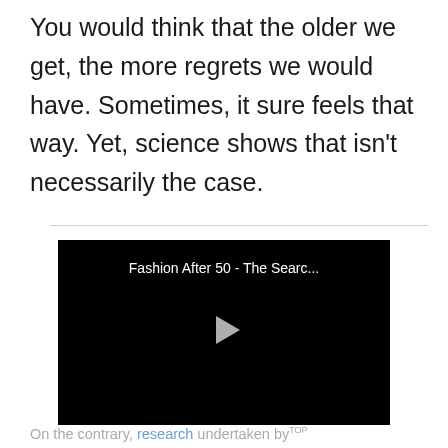You would think that the older we get, the more regrets we would have. Sometimes, it sure feels that way. Yet, science shows that isn't necessarily the case.
[Figure (screenshot): Video thumbnail with black background showing title 'Fashion After 50 - The Searc...' and a play button icon]
On the contrary, research undertaken by TOP